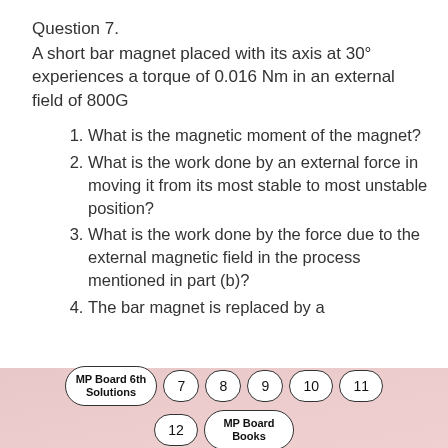Question 7.
A short bar magnet placed with its axis at 30° experiences a torque of 0.016 Nm in an external field of 800G
What is the magnetic moment of the magnet?
What is the work done by an external force in moving it from its most stable to most unstable position?
What is the work done by the force due to the external magnetic field in the process mentioned in part (b)?
The bar magnet is replaced by a
MP Board 6th Solutions  7  8  9  10  11  12  MP Board Books